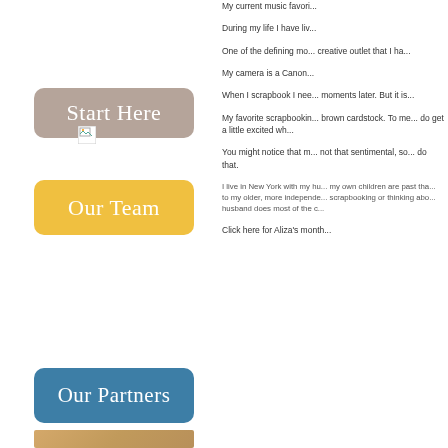[Figure (other): Button labeled 'Start Here' with taupe/brown background]
[Figure (photo): Small broken image icon placeholder]
[Figure (other): Button labeled 'Our Team' with yellow background]
[Figure (other): Button labeled 'Our Partners' with teal/blue background]
[Figure (photo): Partial photo at bottom of left column showing wooden surface]
My current music favori...
During my life I have liv...
One of the defining mo... creative outlet that I ha...
My camera is a Canon...
When I scrapbook I nee... moments later. But it is...
My favorite scrapbookin... brown cardstock. To me... do get a little excited wh...
You might notice that m... not that sentimental, so... do that.
I live in New York with my hu... my own children are past tha... to my older, more independe... scrapbooking or thinking abo... husband does most of the c...
Click here for Aliza's month...